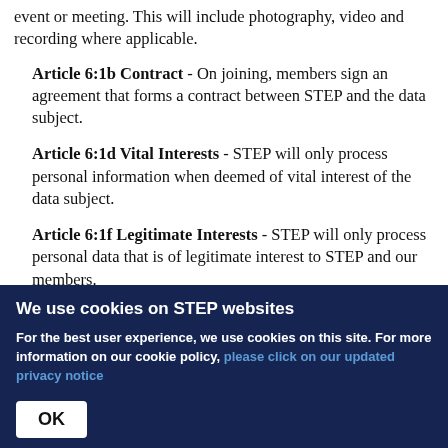event or meeting. This will include photography, video and recording where applicable.
Article 6:1b Contract - On joining, members sign an agreement that forms a contract between STEP and the data subject.
Article 6:1d Vital Interests - STEP will only process personal information when deemed of vital interest of the data subject.
Article 6:1f Legitimate Interests - STEP will only process personal data that is of legitimate interest to STEP and our members.
We use cookies on STEP websites
For the best user experience, we use cookies on this site. For more information on our cookie policy, please click on our updated privacy notice